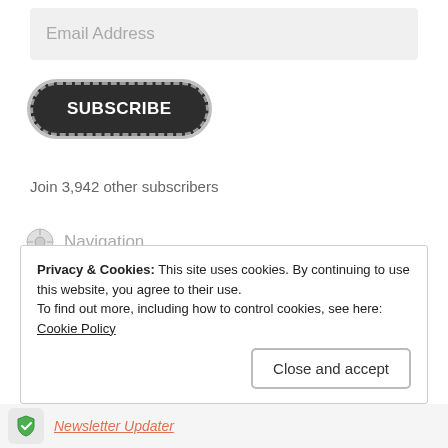[Figure (screenshot): Email address input field, greyed out with placeholder text]
[Figure (screenshot): Subscribe button, dark rounded pill shape with dashed border outline]
Join 3,942 other subscribers
Navigation
About Me/Contact
Affiliate Disclosure
Privacy & Cookies: This site uses cookies. By continuing to use this website, you agree to their use.
To find out more, including how to control cookies, see here: Cookie Policy
[Figure (screenshot): Close and accept button with grey border]
Newsletter Updater